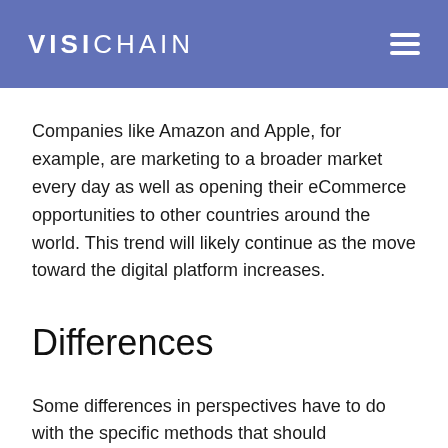VISICHAIN
Companies like Amazon and Apple, for example, are marketing to a broader market every day as well as opening their eCommerce opportunities to other countries around the world. This trend will likely continue as the move toward the digital platform increases.
Differences
Some differences in perspectives have to do with the specific methods that should